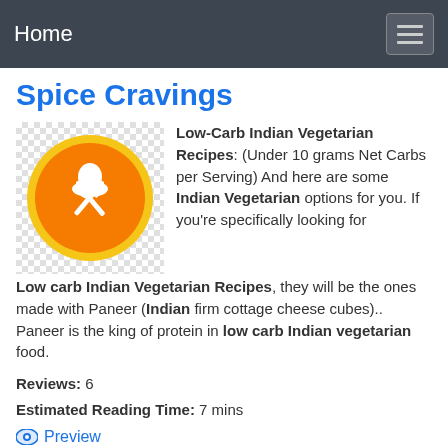Home
Spice Cravings
[Figure (logo): Orange circular logo with white chef hat and crossed spoon and fork icons, on a checkered background]
Low-Carb Indian Vegetarian Recipes: (Under 10 grams Net Carbs per Serving) And here are some Indian Vegetarian options for you. If you're specifically looking for Low carb Indian Vegetarian Recipes, they will be the ones made with Paneer (Indian firm cottage cheese cubes).. Paneer is the king of protein in low carb Indian vegetarian food.
Reviews: 6
Estimated Reading Time: 7 mins
Preview
See Also: Low carb vegan recipes